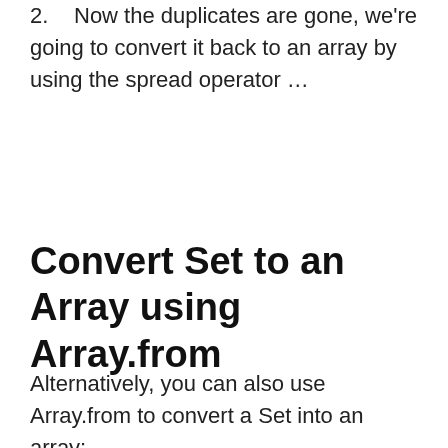2. Now the duplicates are gone, we're going to convert it back to an array by using the spread operator …
Convert Set to an Array using Array.from
Alternatively, you can also use Array.from to convert a Set into an array: